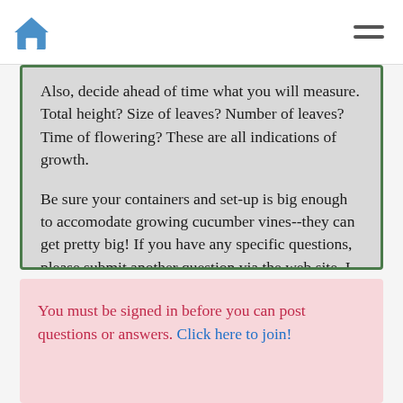Navigation bar with home icon and hamburger menu
Also, decide ahead of time what you will measure. Total height? Size of leaves? Number of leaves? Time of flowering? These are all indications of growth.
Be sure your containers and set-up is big enough to accomodate growing cucumber vines--they can get pretty big! If you have any specific questions, please submit another question via the web site. I don't want to give you too much information--it's best if you find out for yourself the affect of different colored light on plants!
You must be signed in before you can post questions or answers. Click here to join!